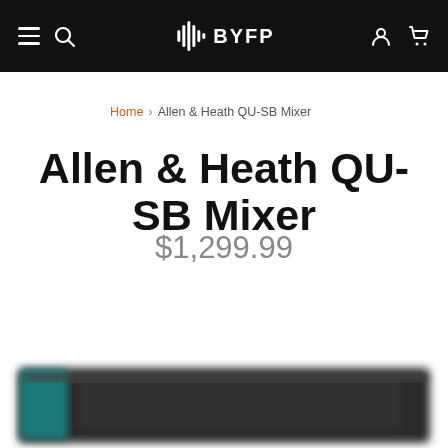BYFP — navigation bar with hamburger menu, search, logo, user icon, and cart icon
Home > Allen & Heath QU-SB Mixer
Allen & Heath QU-SB Mixer
$1,299.99
[Figure (photo): Partially visible blurred product image of the Allen & Heath QU-SB Mixer at the bottom of the page]